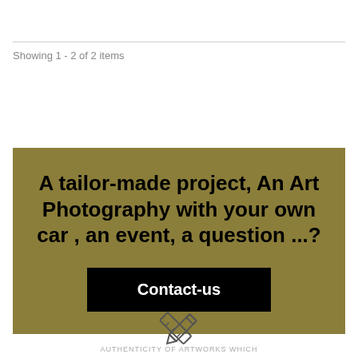Showing 1 - 2 of 2 items
[Figure (infographic): Gold/olive background banner with bold text 'A tailor-made project, An Art Photography with your own car , an event, a question ...?' and a black 'Contact-us' button]
[Figure (illustration): Crossed pencil and ruler icon in outline style]
AUTHENTICITY OF ARTWORKS WHICH